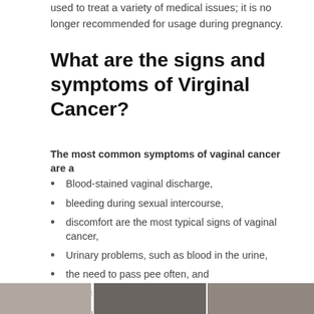used to treat a variety of medical issues; it is no longer recommended for usage during pregnancy.
What are the signs and symptoms of Virginal Cancer?
The most common symptoms of vaginal cancer are a
Blood-stained vaginal discharge,
bleeding during sexual intercourse,
discomfort are the most typical signs of vaginal cancer,
Urinary problems, such as blood in the urine,
the need to pass pee often, and
the urge to pass urine at night, are also possible.
Back pain (rectum) is a common occurrence.
[Figure (photo): Photo strip of medical images at the bottom of the page]